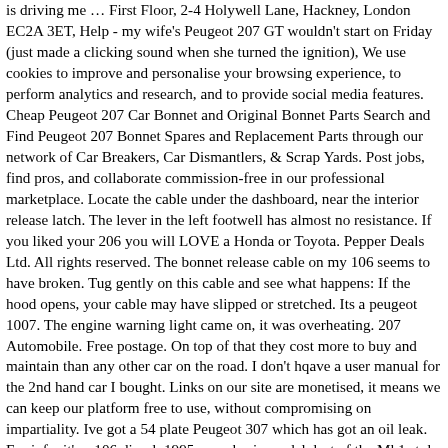is driving me … First Floor, 2-4 Holywell Lane, Hackney, London EC2A 3ET, Help - my wife's Peugeot 207 GT wouldn't start on Friday (just made a clicking sound when she turned the ignition), We use cookies to improve and personalise your browsing experience, to perform analytics and research, and to provide social media features. Cheap Peugeot 207 Car Bonnet and Original Bonnet Parts Search and Find Peugeot 207 Bonnet Spares and Replacement Parts through our network of Car Breakers, Car Dismantlers, & Scrap Yards. Post jobs, find pros, and collaborate commission-free in our professional marketplace. Locate the cable under the dashboard, near the interior release latch. The lever in the left footwell has almost no resistance. If you liked your 206 you will LOVE a Honda or Toyota. Pepper Deals Ltd. All rights reserved. The bonnet release cable on my 106 seems to have broken. Tug gently on this cable and see what happens: If the hood opens, your cable may have slipped or stretched. Its a peugeot 1007. The engine warning light came on, it was overheating. 207 Automobile. Free postage. On top of that they cost more to buy and maintain than any other car on the road. I don't hqave a user manual for the 2nd hand car I bought. Links on our site are monetised, it means we can keep our platform free to use, without compromising on impartiality. Ive got a 54 plate Peugeot 307 which has got an oil leak. For info, it's a 106 diesel, 1995, very basic model, last of the Mk1 style, I think, right hand drive (UK). 2004 - 2011 . Whether or not we're paid doesn't change how hot a deal can potentially get - that's only up to hotukdeals members. The front of the catch has a lever that you lift. See also: Diesel engines and gearboxes * The maximum power corresponds to the type approved value on a test bed, under the conditions defined in European legislation (directive 1999/99/CE). Car Parts Network has to...